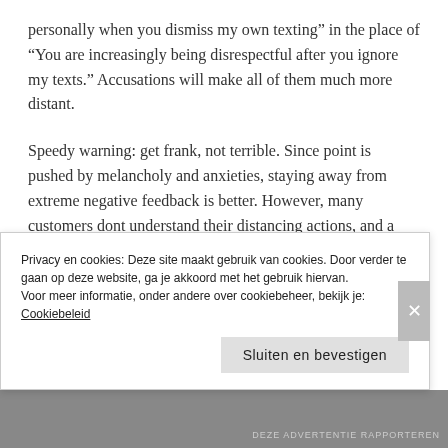personally when you dismiss my own texting” in the place of “You are increasingly being disrespectful after you ignore my texts.” Accusations will make all of them much more distant.
Speedy warning: get frank, not terrible. Since point is pushed by melancholy and anxieties, staying away from extreme negative feedback is better. However, many customers dont understand their distancing actions, and a heads-up might do all of them a favor.
CARE ABOUT WHAT REALY WORKS
Privacy en cookies: Deze site maakt gebruik van cookies. Door verder te gaan op deze website, ga je akkoord met het gebruik hiervan.
Voor meer informatie, onder andere over cookiebeheer, bekijk je: Cookiebeleid
Sluiten en bevestigen